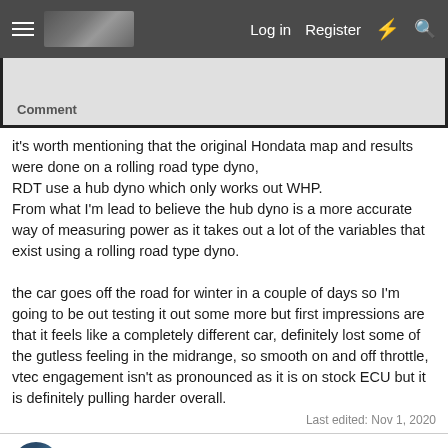Log in  Register
[Figure (screenshot): Partial screenshot of a document showing a 'Comment' label at the bottom left on a light gray background]
it's worth mentioning that the original Hondata map and results were done on a rolling road type dyno,
RDT use a hub dyno which only works out WHP.
From what I'm lead to believe the hub dyno is a more accurate way of measuring power as it takes out a lot of the variables that exist using a rolling road type dyno.

the car goes off the road for winter in a couple of days so I'm going to be out testing it out some more but first impressions are that it feels like a completely different car, definitely lost some of the gutless feeling in the midrange, so smooth on and off throttle, vtec engagement isn't as pronounced as it is on stock ECU but it is definitely pulling harder overall.
Last edited: Nov 1, 2020
danbo2002